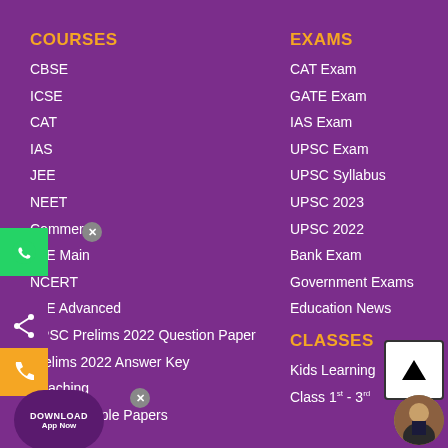COURSES
CBSE
ICSE
CAT
IAS
JEE
NEET
Commerce
JEE Main
NCERT
JEE Advanced
UPSC Prelims 2022 Question Paper
Prelims 2022 Answer Key
Coaching
CBSE Sample Papers
EXAMS
CAT Exam
GATE Exam
IAS Exam
UPSC Exam
UPSC Syllabus
UPSC 2023
UPSC 2022
Bank Exam
Government Exams
Education News
CLASSES
Kids Learning
Class 1st - 3rd